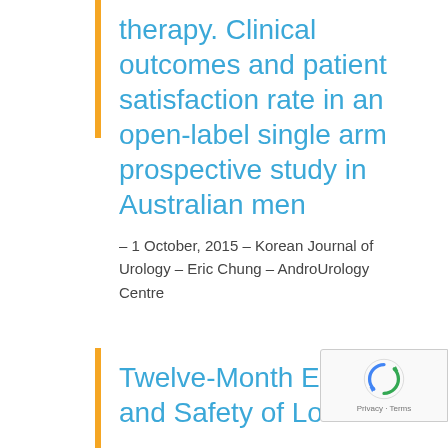therapy. Clinical outcomes and patient satisfaction rate in an open-label single arm prospective study in Australian men
– 1 October, 2015 – Korean Journal of Urology – Eric Chung – AndroUrology Centre
Twelve-Month Efficacy and Safety of Low-